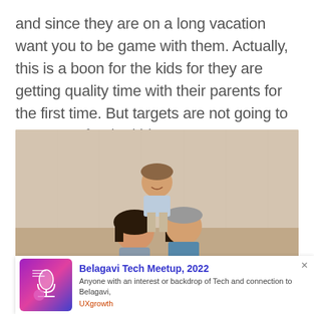and since they are on a long vacation want you to be game with them. Actually, this is a boon for the kids for they are getting quality time with their parents for the first time. But targets are not going to stop even for the kids.
[Figure (photo): A young boy sitting on the shoulders of an adult while another person is also present, family playful moment indoors with neutral background.]
[Figure (infographic): Advertisement card for Belagavi Tech Meetup 2022 with purple/pink gradient logo image, title in bold blue, description text, and UXgrowth source link in orange-red.]
[Figure (photo): Partial bottom edge of another photo, appears to be another family scene.]